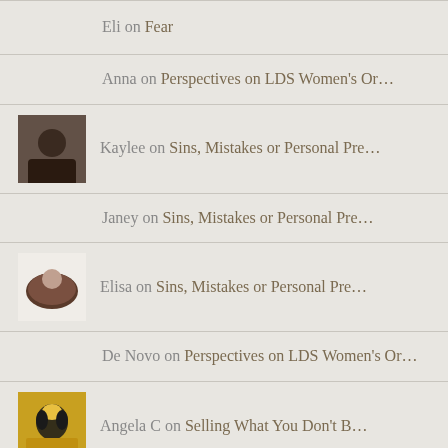Eli on Fear
Anna on Perspectives on LDS Women's Or…
Kaylee on Sins, Mistakes or Personal Pre…
Janey on Sins, Mistakes or Personal Pre…
Elisa on Sins, Mistakes or Personal Pre…
De Novo on Perspectives on LDS Women's Or…
Angela C on Selling What You Don't B…
Bishop Bill on Perspectives on LDS Women's Or…